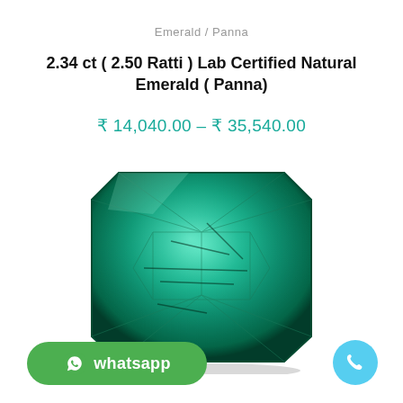Emerald / Panna
2.34 ct ( 2.50 Ratti ) Lab Certified Natural Emerald ( Panna)
₹ 14,040.00 – ₹ 35,540.00
[Figure (photo): Close-up photo of a natural emerald (Panna) gemstone, octagonal/emerald cut, deep green color with visible inclusions and facets, on white background.]
whatsapp
[Figure (other): Phone call button icon — light blue circle with white telephone handset symbol.]